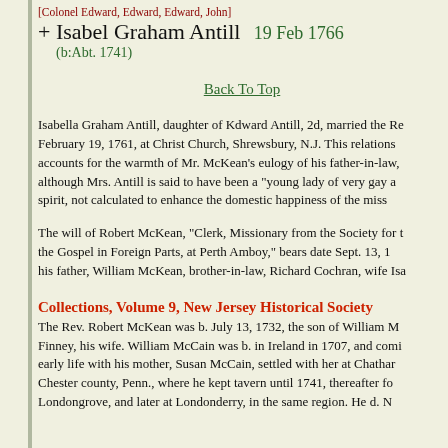[Colonel Edward, Edward, Edward, John]
+ Isabel Graham Antill   19 Feb 1766
(b:Abt. 1741)
Back To Top
Isabella Graham Antill, daughter of Kdward Antill, 2d, married the Re... February 19, 1761, at Christ Church, Shrewsbury, N.J. This relations... accounts for the warmth of Mr. McKean's eulogy of his father-in-law, although Mrs. Antill is said to have been a "young lady of very gay a... spirit, not calculated to enhance the domestic happiness of the miss...
The will of Robert McKean, "Clerk, Missionary from the Society for t... the Gospel in Foreign Parts, at Perth Amboy," bears date Sept. 13, 1... his father, William McKean, brother-in-law, Richard Cochran, wife Isa...
Collections, Volume 9, New Jersey Historical Society
The Rev. Robert McKean was b. July 13, 1732, the son of William M... Finney, his wife. William McCain was b. in Ireland in 1707, and comi... early life with his mother, Susan McCain, settled with her at Chathar... Chester county, Penn., where he kept tavern until 1741, thereafter fo... Londongrove, and later at Londonderry, in the same region. He d. N...